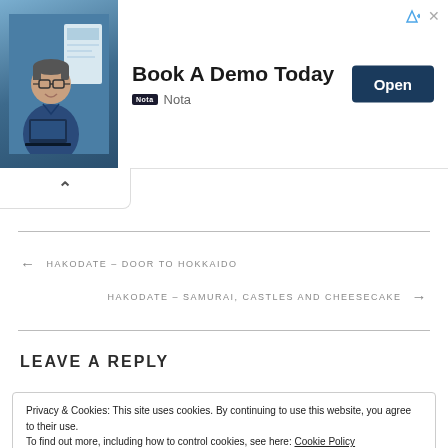[Figure (other): Advertisement banner: photo of man in blue shirt, bold text 'Book A Demo Today', 'Open' button, Nota logo]
Book A Demo Today
Nota
Open
^ (collapse toggle)
← HAKODATE – DOOR TO HOKKAIDO
HAKODATE – SAMURAI, CASTLES AND CHEESECAKE →
LEAVE A REPLY
Privacy & Cookies: This site uses cookies. By continuing to use this website, you agree to their use.
To find out more, including how to control cookies, see here: Cookie Policy
Close and accept